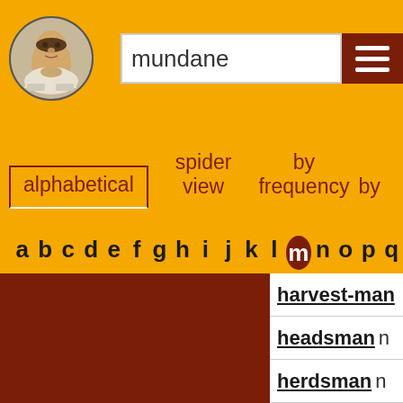[Figure (illustration): Portrait of William Shakespeare in circular frame]
mundane
[Figure (other): Hamburger menu icon (three horizontal lines) on dark red background]
alphabetical
spider view
by frequency
by
a b c d e f g h i j k l m n o p q
harvest-man
headsman n
herdsman n